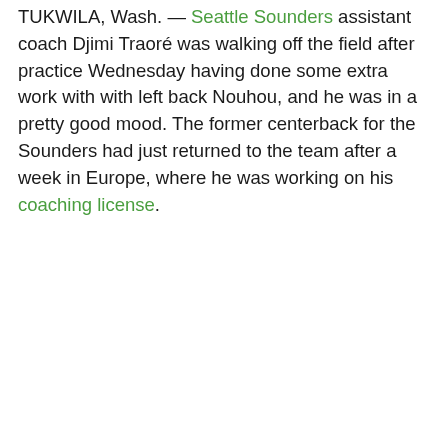TUKWILA, Wash. — Seattle Sounders assistant coach Djimi Traoré was walking off the field after practice Wednesday having done some extra work with with left back Nouhou, and he was in a pretty good mood. The former centerback for the Sounders had just returned to the team after a week in Europe, where he was working on his coaching license.